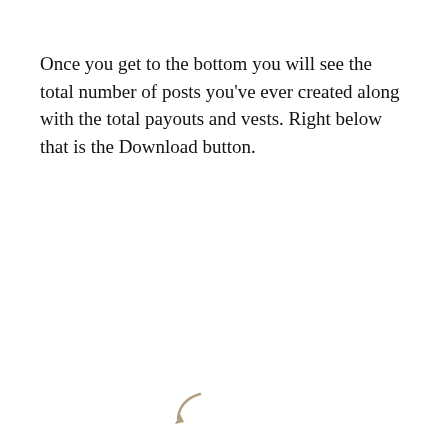Once you get to the bottom you will see the total number of posts you've ever created along with the total payouts and vests. Right below that is the Download button.
[Figure (screenshot): Mobile browser screenshot showing helpienaut.github.io with a table listing post dates and tags (01T18:28:06, 2016-07-30T02:02:27 with tag 'introduceyourself'), followed by summary showing 469 posts, Total Rewards: 888.878 SBD, 758.027 STEEM, 3733223.737 VESTS, and a blue Download button.]